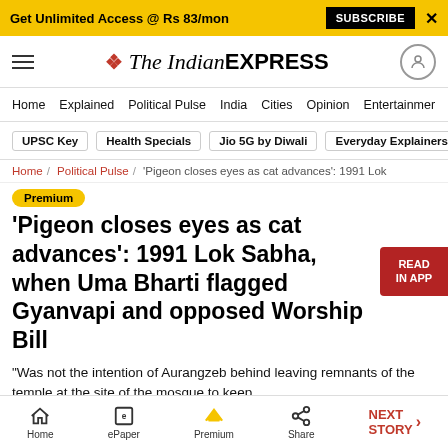Get Unlimited Access @ Rs 83/mon  SUBSCRIBE  X
The Indian EXPRESS
Home / Explained / Political Pulse / India / Cities / Opinion / Entertainment
UPSC Key  Health Specials  Jio 5G by Diwali  Everyday Explainers
Home / Political Pulse / 'Pigeon closes eyes as cat advances': 1991 Lok
Premium
'Pigeon closes eyes as cat advances': 1991 Lok Sabha, when Uma Bharti flagged Gyanvapi and opposed Worship Bill
“Was not the intention of Aurangzeb behind leaving remnants of the temple at the site of the mosque to keep
Home  ePaper  Premium  Share  NEXT STORY